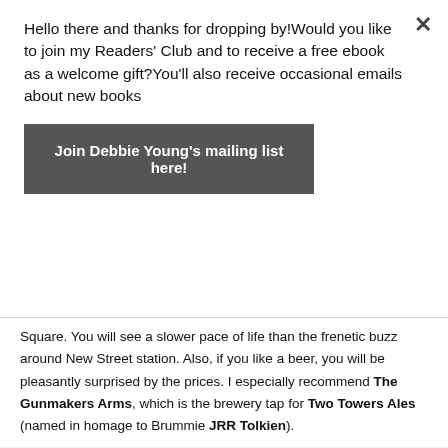Hello there and thanks for dropping by!Would you like to join my Readers' Club and to receive a free ebook as a welcome gift?You'll also receive occasional emails about new books
Join Debbie Young's mailing list here!
Square. You will see a slower pace of life than the frenetic buzz around New Street station. Also, if you like a beer, you will be pleasantly surprised by the prices. I especially recommend The Gunmakers Arms, which is the brewery tap for Two Towers Ales (named in homage to Brummie JRR Tolkien).
[Figure (photo): Photograph of a brick building rooftop with a chimney against a blue cloudy sky, likely The Gunmakers Arms pub.]